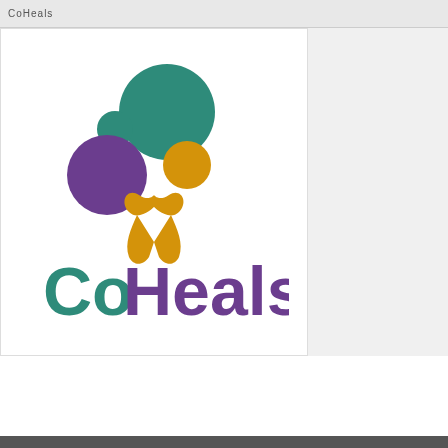CoHeals
[Figure (logo): CoHeals logo featuring three colorful circles (teal, purple, gold) arranged with a gold awareness ribbon, and the text 'CoHeals' below in teal and purple]